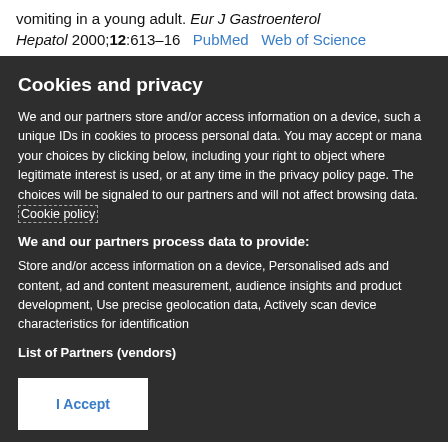vomiting in a young adult. Eur J Gastroenterol Hepatol 2000;12:613–16  PubMed  Web of Science
Cookies and privacy
We and our partners store and/or access information on a device, such as unique IDs in cookies to process personal data. You may accept or manage your choices by clicking below, including your right to object where legitimate interest is used, or at any time in the privacy policy page. These choices will be signaled to our partners and will not affect browsing data. Cookie policy
We and our partners process data to provide:
Store and/or access information on a device, Personalised ads and content, ad and content measurement, audience insights and product development, Use precise geolocation data, Actively scan device characteristics for identification
List of Partners (vendors)